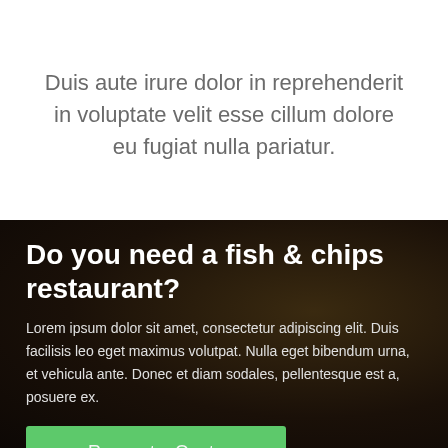Duis aute irure dolor in reprehenderit in voluptate velit esse cillum dolore eu fugiat nulla pariatur.
Do you need a fish & chips restaurant?
Lorem ipsum dolor sit amet, consectetur adipiscing elit. Duis facilisis leo eget maximus volutpat. Nulla eget bibendum urna, et vehicula ante. Donec et diam sodales, pellentesque est a, posuere ex.
Request a Qoute